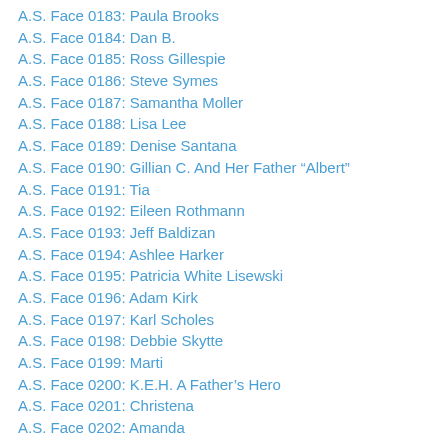A.S. Face 0183: Paula Brooks
A.S. Face 0184: Dan B.
A.S. Face 0185: Ross Gillespie
A.S. Face 0186: Steve Symes
A.S. Face 0187: Samantha Moller
A.S. Face 0188: Lisa Lee
A.S. Face 0189: Denise Santana
A.S. Face 0190: Gillian C. And Her Father “Albert”
A.S. Face 0191: Tia
A.S. Face 0192: Eileen Rothmann
A.S. Face 0193: Jeff Baldizan
A.S. Face 0194: Ashlee Harker
A.S. Face 0195: Patricia White Lisewski
A.S. Face 0196: Adam Kirk
A.S. Face 0197: Karl Scholes
A.S. Face 0198: Debbie Skytte
A.S. Face 0199: Marti
A.S. Face 0200: K.E.H. A Father's Hero
A.S. Face 0201: Christena
A.S. Face 0202: Amanda